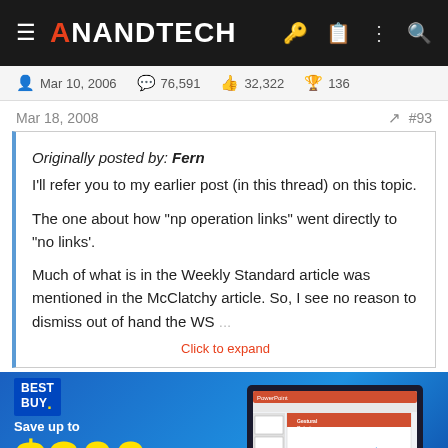AnandTech
Mar 10, 2006  76,591  32,322  136
Mar 18, 2008  #93
Originally posted by: Fern
I'll refer you to my earlier post (in this thread) on this topic.

The one about how "np operation links" went directly to "no links'.

Much of what is in the Weekly Standard article was mentioned in the McClatchy article. So, I see no reason to dismiss out of hand the WS
Click to expand
[Figure (screenshot): Best Buy advertisement: Save up to $300 on select Microsoft Surface products for back-to-school. Shop Now button. Image of a laptop running PowerPoint showing a Gestural Robotics presentation.]